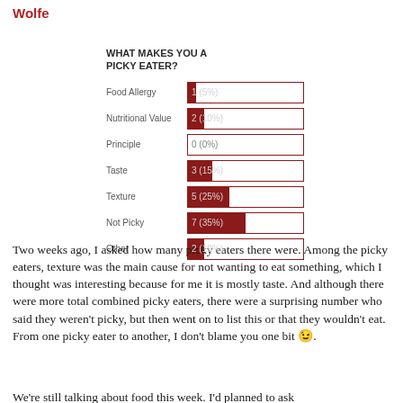Wolfe
[Figure (bar-chart): WHAT MAKES YOU A PICKY EATER?]
Two weeks ago, I asked how many picky eaters there were. Among the picky eaters, texture was the main cause for not wanting to eat something, which I thought was interesting because for me it is mostly taste. And although there were more total combined picky eaters, there were a surprising number who said they weren't picky, but then went on to list this or that they wouldn't eat. From one picky eater to another, I don't blame you one bit 😉.
We're still talking about food this week. I'd planned to ask...